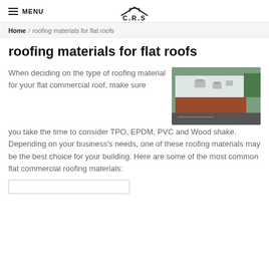MENU | C.R.S
Home / roofing materials for flat roofs
roofing materials for flat roofs
[Figure (photo): Aerial drone photo of a flat white commercial roof with HVAC units on top, surrounded by reddish-brown siding and parking lot.]
When deciding on the type of roofing material for your flat commercial roof, make sure you take the time to consider TPO, EPDM, PVC and Wood shake. Depending on your business's needs, one of these roofing materials may be the best choice for your building. Here are some of the most common flat commercial roofing materials: